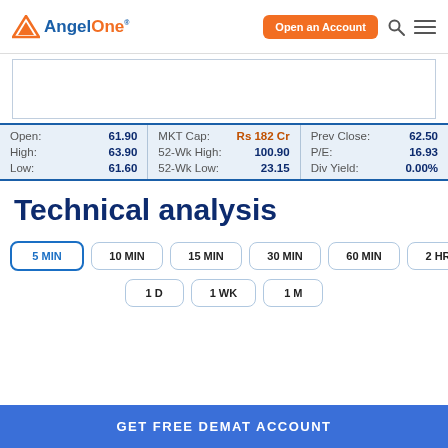AngelOne — Open an Account
[Figure (screenshot): Chart placeholder area (empty white box with border)]
| Open: | 61.90 | MKT Cap: | Rs 182 Cr | Prev Close: | 62.50 |
| High: | 63.90 | 52-Wk High: | 100.90 | P/E: | 16.93 |
| Low: | 61.60 | 52-Wk Low: | 23.15 | Div Yield: | 0.00% |
Technical analysis
5 MIN
10 MIN
15 MIN
30 MIN
60 MIN
2 HR
1 D
1 WK
1 M
GET FREE DEMAT ACCOUNT